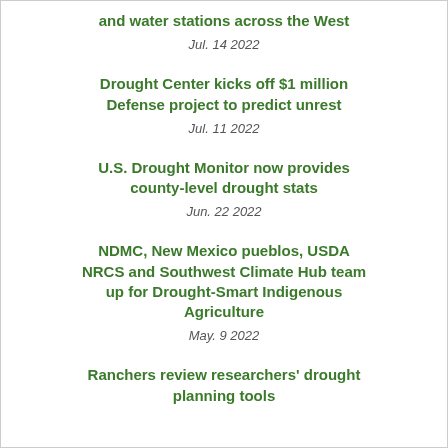and water stations across the West
Jul. 14 2022
Drought Center kicks off $1 million Defense project to predict unrest
Jul. 11 2022
U.S. Drought Monitor now provides county-level drought stats
Jun. 22 2022
NDMC, New Mexico pueblos, USDA NRCS and Southwest Climate Hub team up for Drought-Smart Indigenous Agriculture
May. 9 2022
Ranchers review researchers' drought planning tools